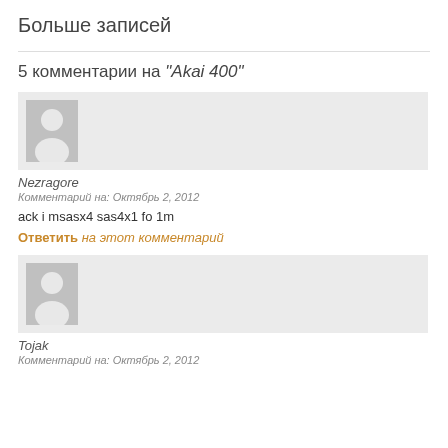Больше записей
5 комментарии на “Akai 400”
[Figure (other): User avatar placeholder (grey silhouette icon)]
Nezragore
Комментарий на: Октябрь 2, 2012
ack i msasx4 sas4x1 fo 1m
Ответить на этот комментарий
[Figure (other): User avatar placeholder (grey silhouette icon)]
Tojak
Комментарий на: Октябрь 2, 2012